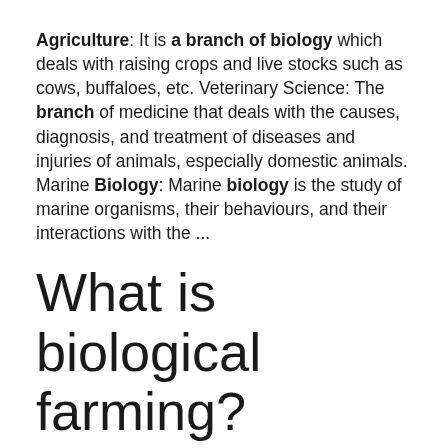Agriculture: It is a branch of biology which deals with raising crops and live stocks such as cows, buffaloes, etc. Veterinary Science: The branch of medicine that deals with the causes, diagnosis, and treatment of diseases and injuries of animals, especially domestic animals. Marine Biology: Marine biology is the study of marine organisms, their behaviours, and their interactions with the ...
What is biological farming?
What is biological farming? Biological farming is production system which